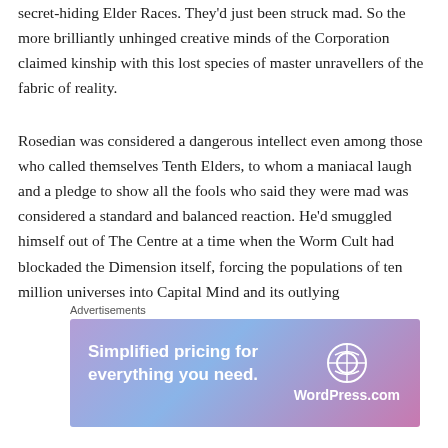secret-hiding Elder Races. They'd just been struck mad. So the more brilliantly unhinged creative minds of the Corporation claimed kinship with this lost species of master unravellers of the fabric of reality.
Rosedian was considered a dangerous intellect even among those who called themselves Tenth Elders, to whom a maniacal laugh and a pledge to show all the fools who said they were mad was considered a standard and balanced reaction. He'd smuggled himself out of The Centre at a time when the Worm Cult had blockaded the Dimension itself, forcing the populations of ten million universes into Capital Mind and its outlying hinterlands[1], and had planted their vast and inscrutable Riddle Towers
[Figure (other): WordPress.com advertisement banner with text 'Simplified pricing for everything you need.' and WordPress logo]